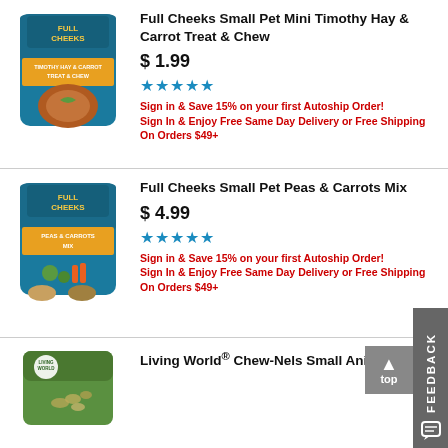[Figure (photo): Full Cheeks Small Pet Mini Timothy Hay & Carrot Treat & Chew product bag — teal/blue packaging with orange text and image of small animal treat]
Full Cheeks Small Pet Mini Timothy Hay & Carrot Treat & Chew
$ 1.99
[Figure (other): 5 blue star rating icons]
Sign in & Save 15% on your first Autoship Order!
Sign In & Enjoy Free Same Day Delivery or Free Shipping On Orders $49+
[Figure (photo): Full Cheeks Small Pet Peas & Carrots Mix product bag — teal/blue packaging with image of peas, carrots, and small animals]
Full Cheeks Small Pet Peas & Carrots Mix
$ 4.99
[Figure (other): 5 blue star rating icons]
Sign in & Save 15% on your first Autoship Order!
Sign In & Enjoy Free Same Day Delivery or Free Shipping On Orders $49+
[Figure (photo): Living World branded small animal product bag — green and white packaging, partially visible]
Living World® Chew-Nels Small Animal Chew